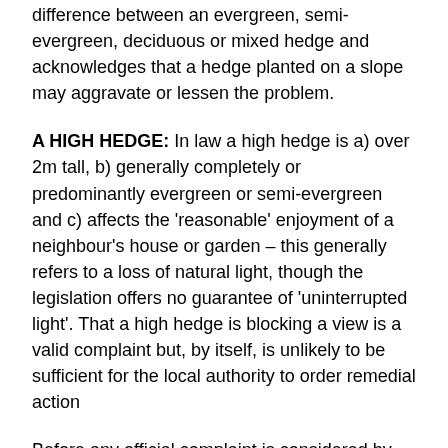difference between an evergreen, semi-evergreen, deciduous or mixed hedge and acknowledges that a hedge planted on a slope may aggravate or lessen the problem.
A HIGH HEDGE: In law a high hedge is a) over 2m tall, b) generally completely or predominantly evergreen or semi-evergreen and c) affects the 'reasonable' enjoyment of a neighbour's house or garden – this generally refers to a loss of natural light, though the legislation offers no guarantee of 'uninterrupted light'. That a high hedge is blocking a view is a valid complaint but, by itself, is unlikely to be sufficient for the local authority to order remedial action
Before any official complaint is considered by the local authority, the complainant will generally be expected to show evidence (copies of correspondence, for example) that reasonable steps have been made to resolve the